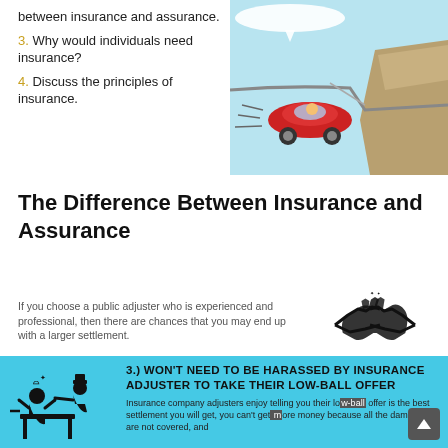between insurance and assurance.
3. Why would individuals need insurance?
4. Discuss the principles of insurance.
[Figure (illustration): Cartoon of a red car driven by a character going off a cliff edge on a winding road]
The Difference Between Insurance and Assurance
If you choose a public adjuster who is experienced and professional, then there are chances that you may end up with a larger settlement.
[Figure (illustration): Black and white handshake icon/logo]
[Figure (infographic): Blue banner with silhouette of person being harassed and text: 3.) WON'T NEED TO BE HARASSED BY INSURANCE ADJUSTER TO TAKE THEIR LOW-BALL OFFER. Insurance company adjusters enjoy telling you their low-ball offer is the best settlement you will get, you can't get more money because all the damages are not covered, and]